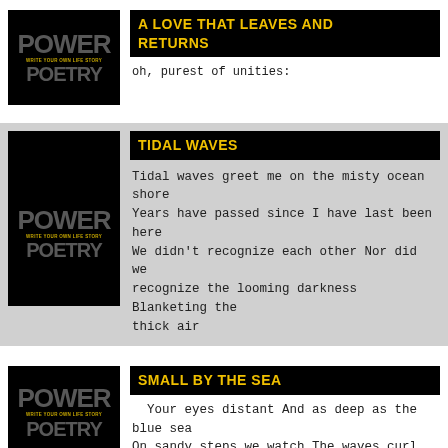[Figure (logo): Power to the Poetry book/program logo on black background]
A LOVE THAT LEAVES AND RETURNS
oh, purest of unities:
[Figure (logo): Power to the Poetry book/program logo on black background]
TIDAL WAVES
Tidal waves greet me on the misty ocean shore Years have passed since I have last been here We didn't recognize each other Nor did we recognize the looming darkness Blanketing the thick air
[Figure (logo): Power to the Poetry book/program logo on black background]
SMALL BY THE SEA
Your eyes distant And as deep as the blue sea On sandy steps we watch The waves curl and